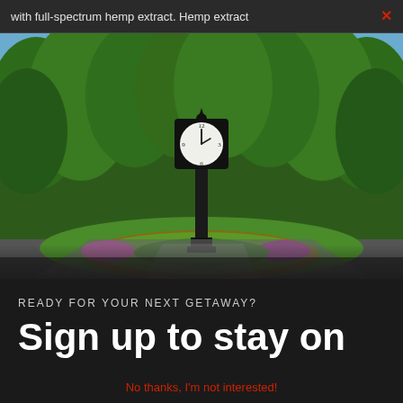with full-spectrum hemp extract. Hemp extract ×
[Figure (photo): Outdoor park scene with a tall ornate black clock on a pole, surrounded by a circular flower bed with colorful flowers (pink, yellow, purple) and green shrubs, set against a backdrop of lush green trees in summer.]
READY FOR YOUR NEXT GETAWAY?
Sign up to stay on
No thanks, I'm not interested!